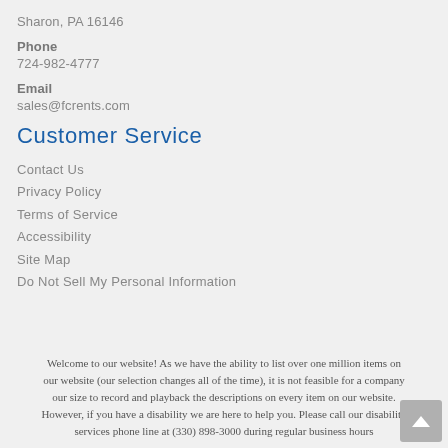Sharon, PA 16146
Phone
724-982-4777
Email
sales@fcrents.com
Customer Service
Contact Us
Privacy Policy
Terms of Service
Accessibility
Site Map
Do Not Sell My Personal Information
Welcome to our website! As we have the ability to list over one million items on our website (our selection changes all of the time), it is not feasible for a company our size to record and playback the descriptions on every item on our website. However, if you have a disability we are here to help you. Please call our disability services phone line at (330) 898-3000 during regular business hours